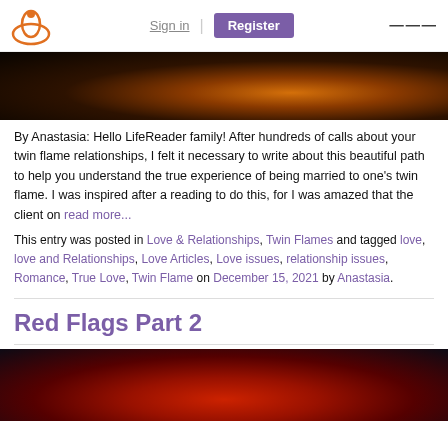Sign in | Register
[Figure (photo): Dark atmospheric photo with orange bokeh lights in the background]
By Anastasia: Hello LifeReader family! After hundreds of calls about your twin flame relationships, I felt it necessary to write about this beautiful path to help you understand the true experience of being married to one's twin flame. I was inspired after a reading to do this, for I was amazed that the client on read more...
This entry was posted in Love & Relationships, Twin Flames and tagged love, love and Relationships, Love Articles, Love issues, relationship issues, Romance, True Love, Twin Flame on December 15, 2021 by Anastasia.
Red Flags Part 2
[Figure (photo): Dark background with a red crumpled fabric or rose]